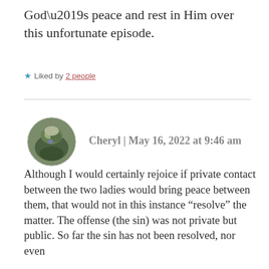God’s peace and rest in Him over this unfortunate episode.
★ Liked by 2 people
Cheryl | May 16, 2022 at 9:46 am
Although I would certainly rejoice if private contact between the two ladies would bring peace between them, that would not in this instance “resolve” the matter. The offense (the sin) was not private but public. So far the sin has not been resolved, nor even